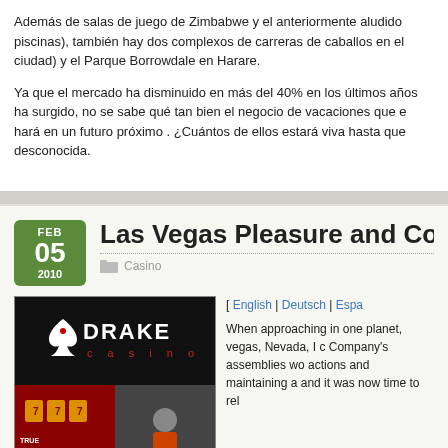Además de salas de juego de Zimbabwe y el anteriormente aludido piscinas), también hay dos complexos de carreras de caballos en el ciudad) y el Parque Borrowdale en Harare.
Ya que el mercado ha disminuido en más del 40% en los últimos años ha surgido, no se sabe qué tan bien el negocio de vacaciones que e hará en un futuro próximo . ¿Cuántos de ellos estará viva hasta que desconocida.
Las Vegas Pleasure and Company
Casino
[ English | Deutsch | Espa… When approaching in one planet, vegas, Nevada, I c Company's assemblies wo actions and maintaining a and it was now time to rel
[Figure (photo): Drake Casino logo and promotional image showing slots and entertainment]